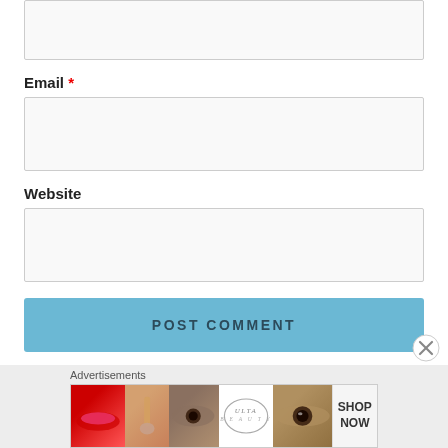[Figure (screenshot): Top partial input box (cropped from above)]
Email *
[Figure (screenshot): Email input text field box]
Website
[Figure (screenshot): Website input text field box]
POST COMMENT
Advertisements
[Figure (screenshot): ULTA beauty advertisement banner with makeup images and SHOP NOW text]